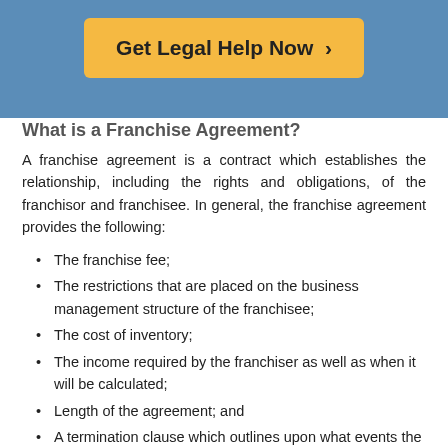[Figure (other): Yellow button with text 'Get Legal Help Now >' on a blue background header]
What is a Franchise Agreement?
A franchise agreement is a contract which establishes the relationship, including the rights and obligations, of the franchisor and franchisee. In general, the franchise agreement provides the following:
The franchise fee;
The restrictions that are placed on the business management structure of the franchisee;
The cost of inventory;
The income required by the franchiser as well as when it will be calculated;
Length of the agreement; and
A termination clause which outlines upon what events the franchisor terminates the franchise agreement. For example, some franchisors require that if a franchise does not make a specified income, the franchise will be